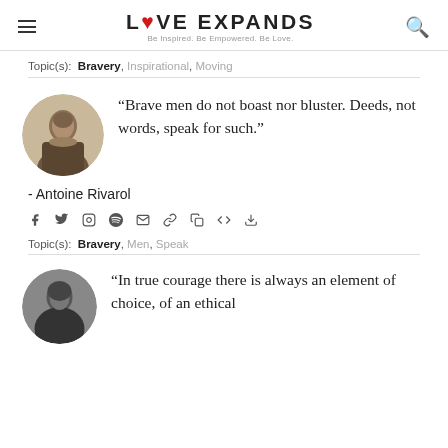LOVE EXPANDS — Be Inspired. Be Empowered. Be Love.
Topic(s):  Bravery, Inspirational, Moving
[Figure (photo): Circular portrait of Antoine Rivarol, historical engraving in sepia tones]
“Brave men do not boast nor bluster. Deeds, not words, speak for such.”
- Antoine Rivarol
Social share icons: facebook, twitter, instagram, pinterest, email, link, copy, code, download
Topic(s):  Bravery, Men, Speak
[Figure (photo): Circular portrait photo in black and white, partially visible at bottom of page]
“In true courage there is always an element of choice, of an ethical